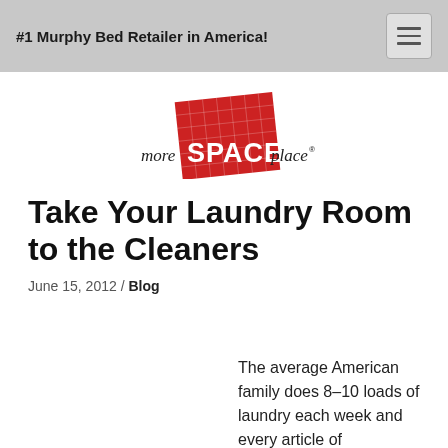#1 Murphy Bed Retailer in America!
[Figure (logo): more SPACE place logo with red tilted grid background block]
Take Your Laundry Room to the Cleaners
June 15, 2012 / Blog
The average American family does 8–10 loads of laundry each week and every article of